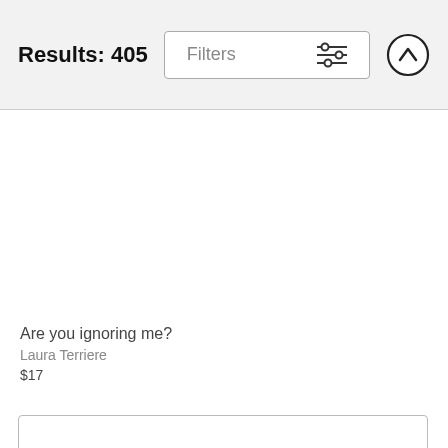Results: 405
Are you ignoring me?
Laura Terriere
$17
[Figure (screenshot): Partially visible book cover card outline at the bottom of the page]